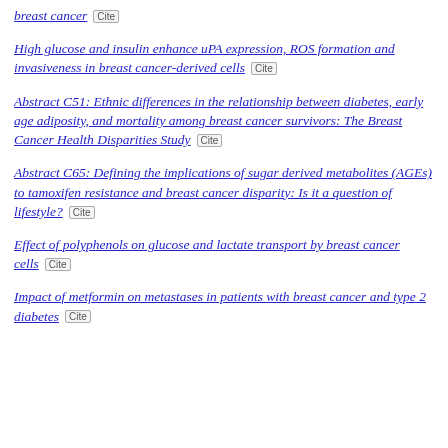breast cancer [Cite]
High glucose and insulin enhance uPA expression, ROS formation and invasiveness in breast cancer-derived cells [Cite]
Abstract C51: Ethnic differences in the relationship between diabetes, early age adiposity, and mortality among breast cancer survivors: The Breast Cancer Health Disparities Study [Cite]
Abstract C65: Defining the implications of sugar derived metabolites (AGEs) to tamoxifen resistance and breast cancer disparity: Is it a question of lifestyle? [Cite]
Effect of polyphenols on glucose and lactate transport by breast cancer cells [Cite]
Impact of metformin on metastases in patients with breast cancer and type 2 diabetes [Cite]